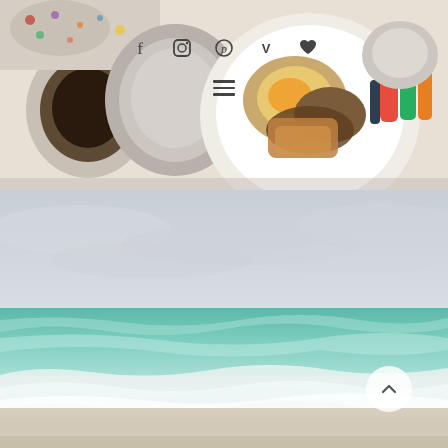[Figure (photo): Overhead flat-lay photo of a breakfast table with plates of food, coffee, and condiments. Social media icons (Facebook, Instagram, Pinterest, Vimeo, heart/favorites) overlaid near the top center, and a hamburger menu icon overlaid in the center.]
[Figure (photo): Wide beach and ocean photo with turquoise waves, white seafoam, sandy beach, and an overcast grey sky. A back-to-top arrow button overlaid in the bottom right.]